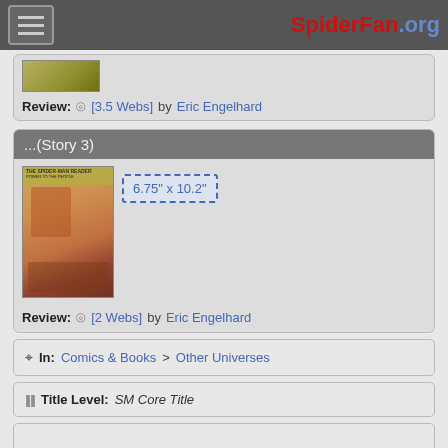SpiderFan.org
Review: [3.5 Webs] by Eric Engelhard
...(Story 3)
[Figure (photo): Comic book cover thumbnail for Story 3]
6.75" x 10.2"
Review: [2 Webs] by Eric Engelhard
In: Comics & Books > Other Universes
Title Level: SM Core Title